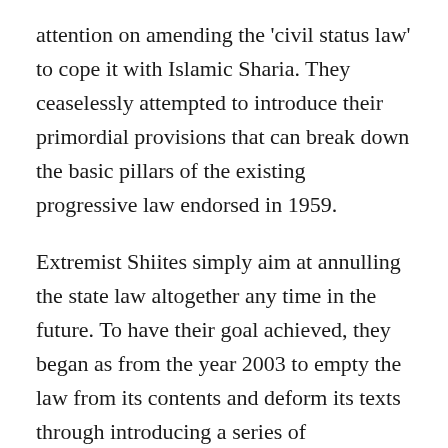attention on amending the 'civil status law' to cope it with Islamic Sharia. They ceaselessly attempted to introduce their primordial provisions that can break down the basic pillars of the existing progressive law endorsed in 1959.
Extremist Shiites simply aim at annulling the state law altogether any time in the future. To have their goal achieved, they began as from the year 2003 to empty the law from its contents and deform its texts through introducing a series of amendments to it. Not to mention the other political amendments that had previously been introduced by the ex- Sadam's regime in the course of three long decades.
The new call springs from the old imprinted hatred that